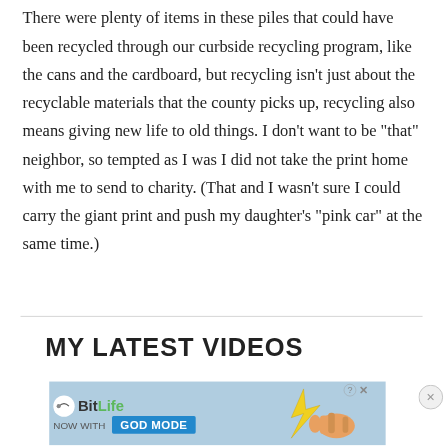There were plenty of items in these piles that could have been recycled through our curbside recycling program, like the cans and the cardboard, but recycling isn't just about the recyclable materials that the county picks up, recycling also means giving new life to old things. I don't want to be “that” neighbor, so tempted as I was I did not take the print home with me to send to charity. (That and I wasn't sure I could carry the giant print and push my daughter’s “pink car” at the same time.)
MY LATEST VIDEOS
[Figure (other): BitLife advertisement banner with 'NOW WITH GOD MODE' text and illustrated pointing hand]